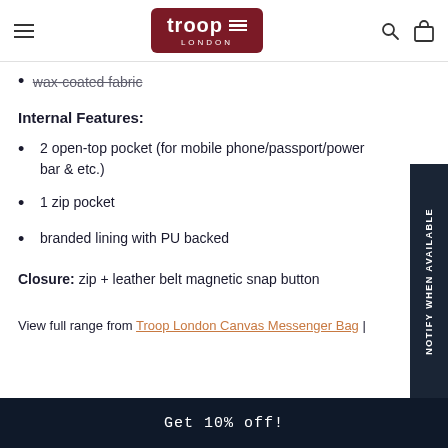troop LONDON
wax-coated fabric
Internal Features:
2 open-top pocket (for mobile phone/passport/power bar & etc.)
1 zip pocket
branded lining with PU backed
Closure: zip + leather belt magnetic snap button
View full range from Troop London Canvas Messenger Bag |
Get 10% off!